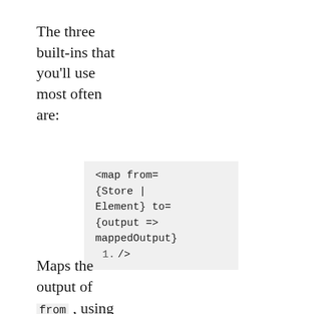The three built-ins that you'll use most often are:
<map from={Store | Element} to={output => mappedOutput}
1.  />
Maps the output of from , using the function passed to to . Each publish on the from